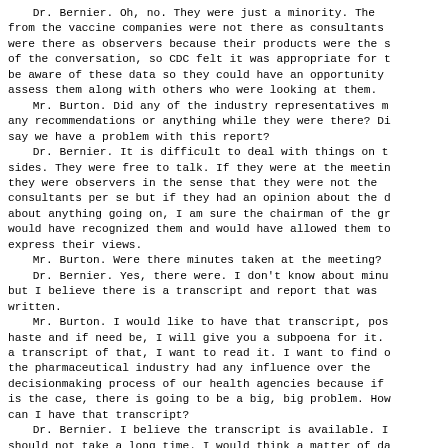Dr. Bernier. Oh, no. They were just a minority. The from the vaccine companies were not there as consultants were there as observers because their products were the s of the conversation, so CDC felt it was appropriate for t be aware of these data so they could have an opportunity assess them along with others who were looking at them. Mr. Burton. Did any of the industry representatives r any recommendations or anything while they were there? Di say we have a problem with this report? Dr. Bernier. It is difficult to deal with things on t sides. They were free to talk. If they were at the meetin they were observers in the sense that they were not the consultants per se but if they had an opinion about the d about anything going on, I am sure the chairman of the gr would have recognized them and would have allowed them to express their views. Mr. Burton. Were there minutes taken at the meeting? Dr. Bernier. Yes, there were. I don't know about minu but I believe there is a transcript and report that was written. Mr. Burton. I would like to have that transcript, pos haste and if need be, I will give you a subpoena for it. a transcript of that, I want to read it. I want to find o the pharmaceutical industry had any influence over the decisionmaking process of our health agencies because if is the case, there is going to be a big, big problem. How can I have that transcript? Dr. Bernier. I believe the transcript is available. I should not take a long time. I would think a matter of da we can put our hands on it.